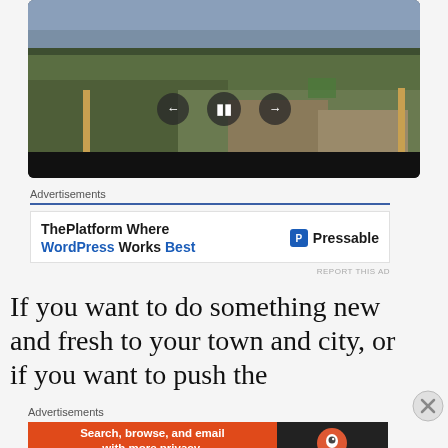[Figure (screenshot): Video player showing a field/countryside scene with video playback controls (back, pause, forward) overlaid in the center and a black control bar at the bottom]
Advertisements
[Figure (screenshot): Advertisement banner: 'ThePlatform Where WordPress Works Best' with Pressable logo on the right]
REPORT THIS AD
If you want to do something new and fresh to your town and city, or if you want to push the
Advertisements
[Figure (screenshot): DuckDuckGo advertisement banner: 'Search, browse, and email with more privacy. All in One Free App']
REPORT THIS AD